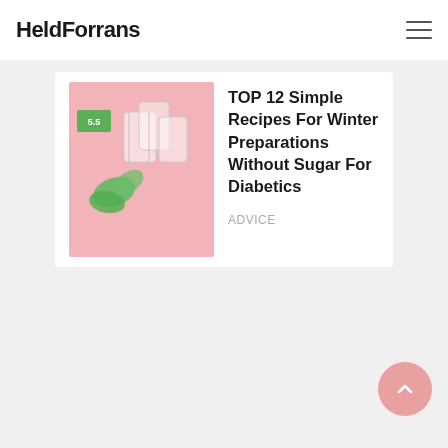HeldForrans
[Figure (photo): Thumbnail image with pink background showing glass jars and green plant elements, related to winter food preparations]
TOP 12 Simple Recipes For Winter Preparations Without Sugar For Diabetics
Advice